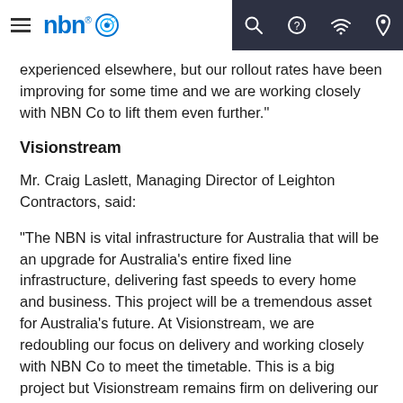nbn
experienced elsewhere, but our rollout rates have been improving for some time and we are working closely with NBN Co to lift them even further."
Visionstream
Mr. Craig Laslett, Managing Director of Leighton Contractors, said:
"The NBN is vital infrastructure for Australia that will be an upgrade for Australia's entire fixed line infrastructure, delivering fast speeds to every home and business. This project will be a tremendous asset for Australia's future. At Visionstream, we are redoubling our focus on delivery and working closely with NBN Co to meet the timetable. This is a big project but Visionstream remains firm on delivering our